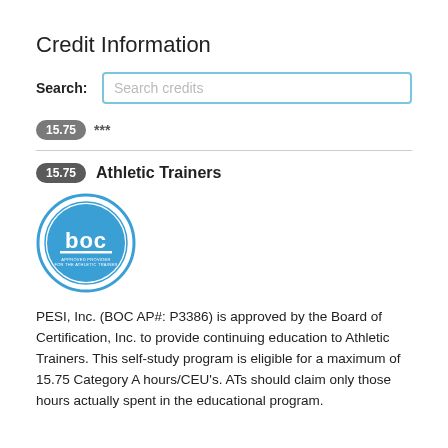Credit Information
Search: Search credits
15.75 ***
15.75 Athletic Trainers
[Figure (logo): BOC (Board of Certification) approved provider logo — circular blue logo with 'boc' text and 'APPROVED PROVIDER FOR THE ATHLETIC TRAINER' text]
PESI, Inc. (BOC AP#: P3386) is approved by the Board of Certification, Inc. to provide continuing education to Athletic Trainers. This self-study program is eligible for a maximum of 15.75 Category A hours/CEU's. ATs should claim only those hours actually spent in the educational program.